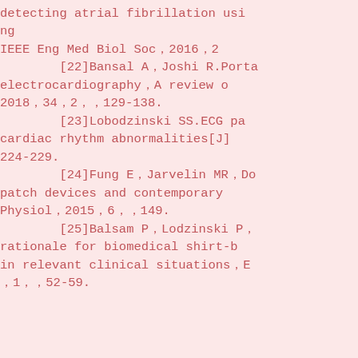detecting atrial fibrillation usi... IEEE Eng Med Biol Soc，2016，2... [22]Bansal A，Joshi R.Porta... electrocardiography，A review o... 2018，34，2，，129-138. [23]Lobodzinski SS.ECG pa... cardiac rhythm abnormalities[J]... 224-229. [24]Fung E，Jarvelin MR，Do... patch devices and contemporary... Physiol，2015，6，，149. [25]Balsam P，Lodzinski P，... rationale for biomedical shirt-b... in relevant clinical situations，E... ，1，，52-59.